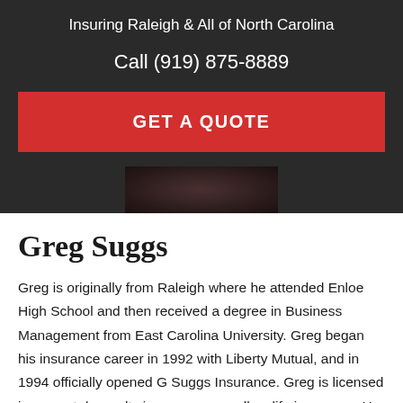Insuring Raleigh & All of North Carolina
Call (919) 875-8889
GET A QUOTE
[Figure (photo): Partial photo of a person in dark clothing, visible at the bottom of the dark header section]
Greg Suggs
Greg is originally from Raleigh where he attended Enloe High School and then received a degree in Business Management from East Carolina University. Greg began his insurance career in 1992 with Liberty Mutual, and in 1994 officially opened G Suggs Insurance. Greg is licensed in property/casualty insurance as well as life insurance. He was awarded the Certified Insurance